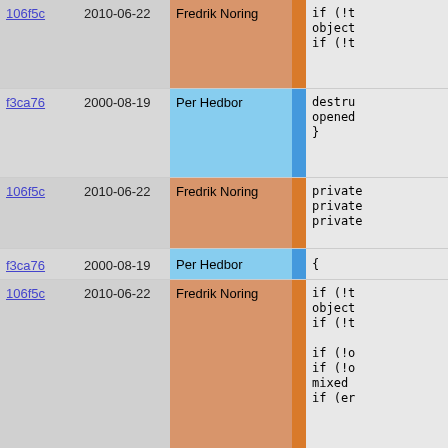| hash | date | author | bar | code |
| --- | --- | --- | --- | --- |
| 106f5c | 2010-06-22 | Fredrik Noring |  | if (!t
object
if (!t |
| f3ca76 | 2000-08-19 | Per Hedbor |  | destru
opened
} |
| 106f5c | 2010-06-22 | Fredrik Noring |  | private
private
private |
| f3ca76 | 2000-08-19 | Per Hedbor |  | { |
| 106f5c | 2010-06-22 | Fredrik Noring |  | if (!t
object
if (!t

if (!o
if (!o
mixed
if (er |
| bbd5ae | 2010-01-27 | Martin Stjernholm |  | catc
  fo


}; |
| e46184 | 2000-08-19 | Per Hedbor |  | write |